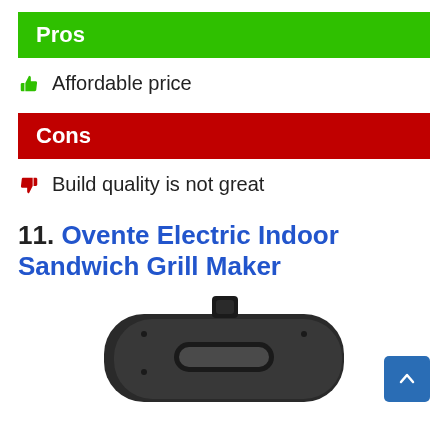Pros
Affordable price
Cons
Build quality is not great
11. Ovente Electric Indoor Sandwich Grill Maker
[Figure (photo): Photo of the Ovente Electric Indoor Sandwich Grill Maker, a black appliance with a handle, viewed from above at an angle. A blue back-to-top button is visible in the bottom right corner.]